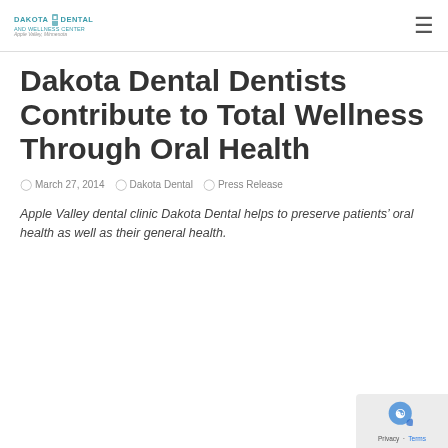DAKOTA DENTAL AND WELLNESS CENTER
Dakota Dental Dentists Contribute to Total Wellness Through Oral Health
March 27, 2014   Dakota Dental   Press Release
Apple Valley dental clinic Dakota Dental helps to preserve patients' oral health as well as their general health.